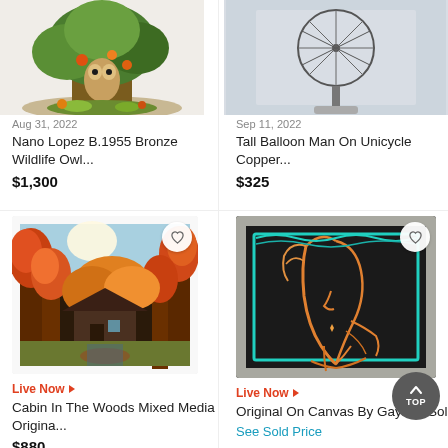[Figure (photo): Bronze wildlife owl sculpture by Nano Lopez, partially visible at top]
Aug 31, 2022
Nano Lopez B.1955 Bronze Wildlife Owl...
$1,300
[Figure (photo): Tall balloon man on unicycle copper sculpture, partially visible at top]
Sep 11, 2022
Tall Balloon Man On Unicycle Copper...
$325
[Figure (photo): Cabin In The Woods mixed media original painting with autumn forest scene]
Live Now ▶
Cabin In The Woods Mixed Media Origina...
$880
[Figure (photo): Original on canvas by Gaylord Soli, abstract face in neon lines on dark background, silver frame]
Live Now ▶
Original On Canvas By Gaylord Soli
See Sold Price